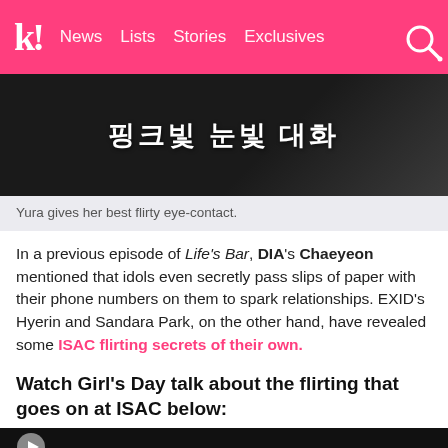k! News  Lists  Stories  Exclusives
[Figure (photo): Dark background image with Korean text reading 핑크빛 눈빛 대화 in white bold characters]
Yura gives her best flirty eye-contact.
In a previous episode of Life's Bar, DIA's Chaeyeon mentioned that idols even secretly pass slips of paper with their phone numbers on them to spark relationships. EXID's Hyerin and Sandara Park, on the other hand, have revealed some ISAC flirting secrets of their own.
Watch Girl's Day talk about the flirting that goes on at ISAC below:
[Figure (screenshot): Video thumbnail with dark background and circular play button icon]